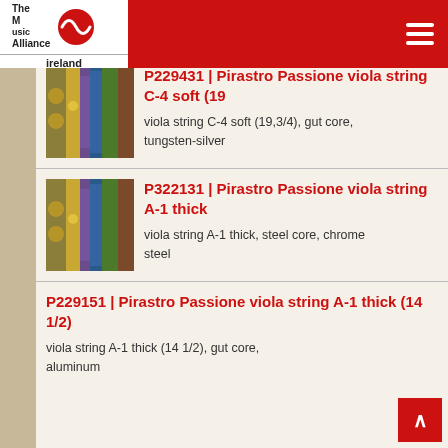The Music Alliance ireland
viola string A-1 soft (14), gut core, aluminum
P229431 | Pirastro Passione viola string C-4 soft (19
viola string C-4 soft (19,3/4), gut core, tungsten-silver
P322131 | Pirastro Passione viola string A-1 thick
viola string A-1 thick, steel core, chrome steel
P229151 | Pirastro Passione viola string A-1 thick (14 1/2)
viola string A-1 thick (14 1/2), gut core, aluminum